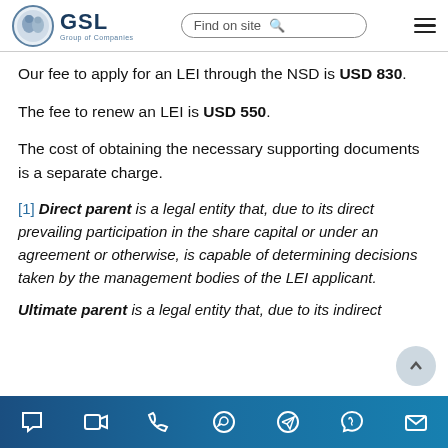GSL Group of Companies | Find on site
Our fee to apply for an LEI through the NSD is USD 830.
The fee to renew an LEI is USD 550.
The cost of obtaining the necessary supporting documents is a separate charge.
[1] Direct parent is a legal entity that, due to its direct prevailing participation in the share capital or under an agreement or otherwise, is capable of determining decisions taken by the management bodies of the LEI applicant.
Ultimate parent is a legal entity that, due to its indirect
Navigation icons: chat, video, phone, whatsapp, telegram, viber, email